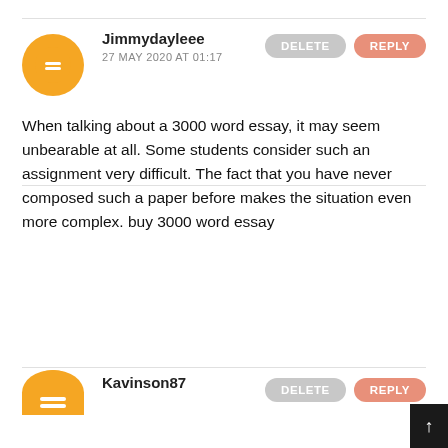Jimmydayleee
27 MAY 2020 AT 01:17
When talking about a 3000 word essay, it may seem unbearable at all. Some students consider such an assignment very difficult. The fact that you have never composed such a paper before makes the situation even more complex. buy 3000 word essay
Kavinson87